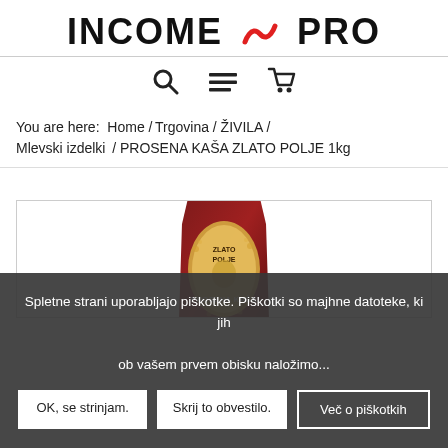INCOME PRO
[Figure (logo): INCOME PRO logo with red wave/infinity icon between INCOME and PRO]
[Figure (screenshot): Navigation icons: magnifying glass search, hamburger menu, shopping cart]
You are here: Home / Trgovina / ŽIVILA / Mlevski izdelki / PROSENA KAŠA ZLATO POLJE 1kg
[Figure (photo): Product package: dark red/maroon bag labeled PROSENA KAŠA ZLATO POLJE, partially visible]
Spletne strani uporabljajo piškotke. Piškotki so majhne datoteke, ki jih ob vašem prvem obisku naložimo...
OK, se strinjam.
Skrij to obvestilo.
Več o piškotkih